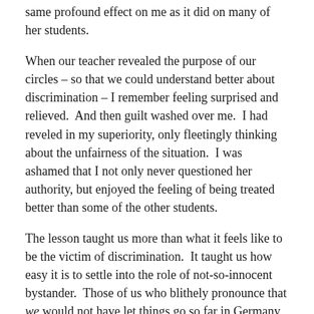same profound effect on me as it did on many of her students.
When our teacher revealed the purpose of our circles – so that we could understand better about discrimination – I remember feeling surprised and relieved.  And then guilt washed over me.  I had reveled in my superiority, only fleetingly thinking about the unfairness of the situation.  I was ashamed that I not only never questioned her authority, but enjoyed the feeling of being treated better than some of the other students.
The lesson taught us more than what it feels like to be the victim of discrimination.  It taught us how easy it is to settle into the role of not-so-innocent bystander.  Those of us who blithely pronounce that we would not have let things go so far in Germany, South Africa, or the United States, those of us who declare with bravado that past horrors would not have happened under our watch, have little experience questioning authority or risking our lives and the lives of those we love for the sake of